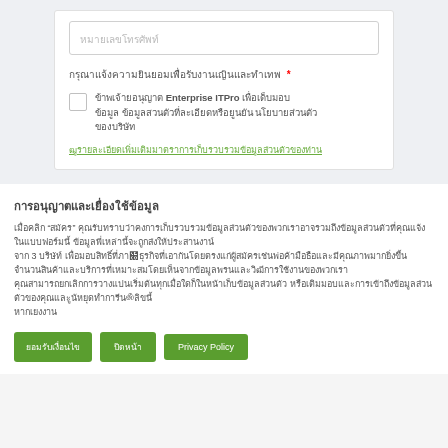[Figure (screenshot): Form section with text input field at top, required field label with asterisk, checkbox with Thai text mentioning Enterprise ITPro, and a link in Thai text at bottom]
การคุ้มครองข้อมูลส่วนตัว (Thai text)
Body paragraph in Thai script with quoted word, multiple lines of Thai text
Button row: Thai button 1, Thai button 2, Privacy Policy